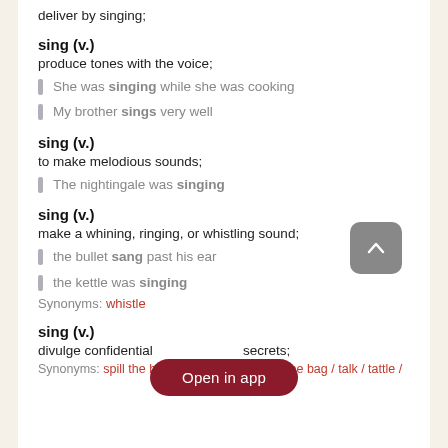deliver by singing;
sing (v.)
produce tones with the voice;
She was singing while she was cooking
My brother sings very well
sing (v.)
to make melodious sounds;
The nightingale was singing
sing (v.)
make a whining, ringing, or whistling sound;
the bullet sang past his ear
the kettle was singing
Synonyms: whistle
sing (v.)
divulge confidential information or secrets;
Synonyms: spill the beans / let the cat out of the bag / talk / tattle /